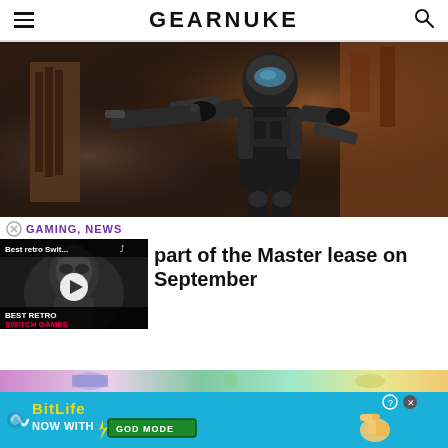GEARNUKE
[Figure (illustration): A science fiction armored soldier in dark tactical gear pointing a weapon, set against a reddish-brown industrial background]
GAMING, NEWS
[Figure (screenshot): Video thumbnail showing 'Best retro Swit...' with a play button overlay and 'BEST RETRO SWITCH GAMES' text at bottom]
part of the Master lease on September
[Figure (infographic): Advertisement banner: BitLife - Now with GOD MODE]